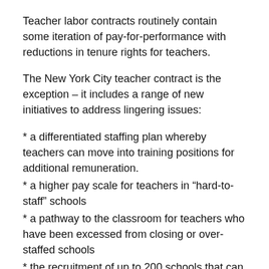Teacher labor contracts routinely contain some iteration of pay-for-performance with reductions in tenure rights for teachers.
The New York City teacher contract is the exception – it includes a range of new initiatives to address lingering issues:
* a differentiated staffing plan whereby teachers can move into training positions for additional remuneration.
* a higher pay scale for teachers in “hard-to-staff” schools
* a pathway to the classroom for teachers who have been excessed from closing or over-staffed schools
* the recruitment of up to 200 schools that can modify the union contract to fit the needs of the school.
* expedited procedures for dismissal of teachers accused of serious misconduct.